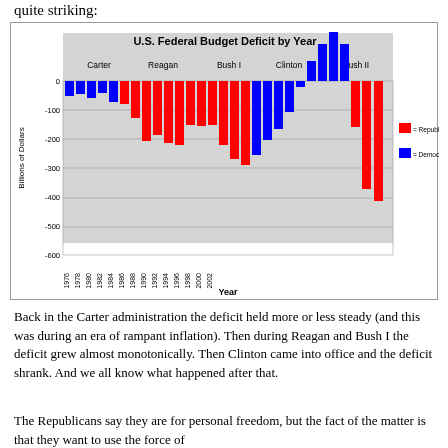quite striking:
[Figure (bar-chart): U.S. Federal Budget Deficit by Year]
Back in the Carter administration the deficit held more or less steady (and this was during an era of rampant inflation). Then during Reagan and Bush I the deficit grew almost monotonically. Then Clinton came into office and the deficit shrank. And we all know what happened after that.
The Republicans say they are for personal freedom, but the fact of the matter is that they want to use the force of